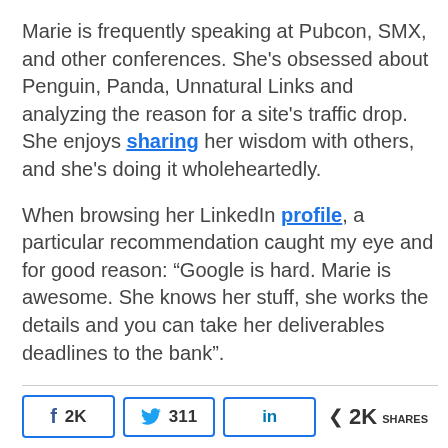Marie is frequently speaking at Pubcon, SMX, and other conferences. She's obsessed about Penguin, Panda, Unnatural Links and analyzing the reason for a site's traffic drop. She enjoys sharing her wisdom with others, and she's doing it wholeheartedly.
When browsing her LinkedIn profile, a particular recommendation caught my eye and for good reason: “Google is hard. Marie is awesome. She knows her stuff, she works the details and you can take her deliverables deadlines to the bank”.
[Figure (infographic): Social share bar with Facebook (2K), Twitter (311), LinkedIn share buttons, and a 2K total shares count]